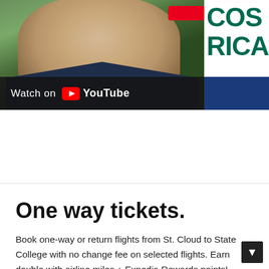[Figure (screenshot): YouTube video thumbnail showing a woman in a dark navy shirt with blonde hair, outdoor green background. Text 'COSTA RICA' visible in large teal bold letters on the right. Red rectangle at top right. Blue rectangle at bottom right. YouTube watch bar overlay at bottom left reading 'Watch on YouTube'.]
One way tickets.
Book one-way or return flights from St. Cloud to State College with no change fee on selected flights. Earn double with airline miles + Expedia Rewards points! Find cheap flights from Saint Cloud to State College on flightzonescards.xyz and save up